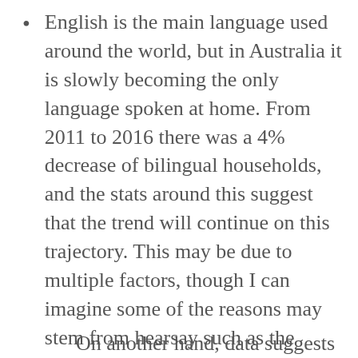English is the main language used around the world, but in Australia it is slowly becoming the only language spoken at home. From 2011 to 2016 there was a 4% decrease of bilingual households, and the stats around this suggest that the trend will continue on this trajectory. This may be due to multiple factors, though I can imagine some of the reasons may stem from hearsay such as the second-language-causing-language-delays myth I mentioned above.
On another hand, data suggests...